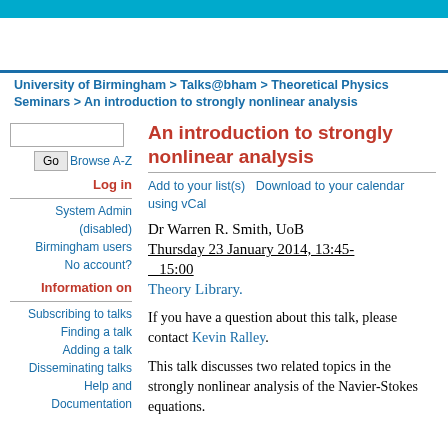University of Birmingham > Talks@bham > Theoretical Physics Seminars > An introduction to strongly nonlinear analysis
An introduction to strongly nonlinear analysis
Add to your list(s)    Download to your calendar using vCal
Dr Warren R. Smith, UoB
Thursday 23 January 2014, 13:45-15:00
Theory Library.
If you have a question about this talk, please contact Kevin Ralley.
This talk discusses two related topics in the strongly nonlinear analysis of the Navier-Stokes equations.
Log in
System Admin (disabled)
Birmingham users
No account?
Information on
Subscribing to talks
Finding a talk
Adding a talk
Disseminating talks
Help and Documentation